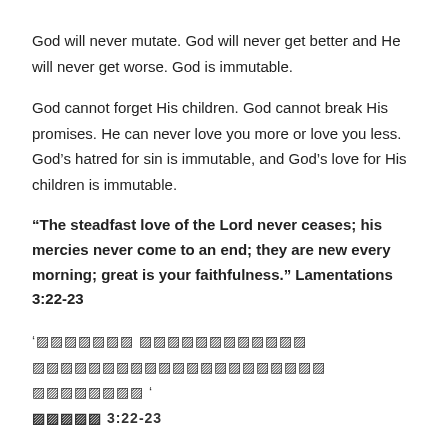God will never mutate. God will never get better and He will never get worse. God is immutable.
God cannot forget His children. God cannot break His promises. He can never love you more or love you less. God’s hatred for sin is immutable, and God’s love for His children is immutable.
“The steadfast love of the Lord never ceases; his mercies never come to an end; they are new every morning; great is your faithfulness.” Lamentations 3:22-23
‘▨▨▨▨▨▨▨ ▨▨▨▨▨▨▨▨▨▨▨▨ ▨▨▨▨▨▨▨▨▨▨▨▨▨▨▨▨▨▨▨▨▨ ▨▨▨▨▨▨▨▨ ‘ ▨▨▨▨▨ 3:22-23
God’s immutability is especially great when we remember that God is also omniscient.